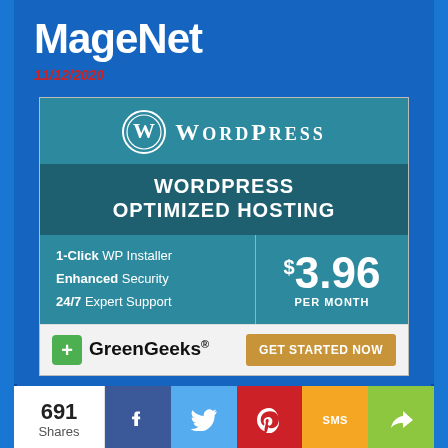MageNet
11/12/2020
[Figure (infographic): WordPress Optimized Hosting advertisement banner by GreenGeeks. Features WordPress logo and wordmark, headline 'WordPress Optimized Hosting', features list (1-Click WP Installer, Enhanced Security, 24/7 Expert Support), price $3.96 per month, GreenGeeks logo and Get Started Now button.]
691 Shares